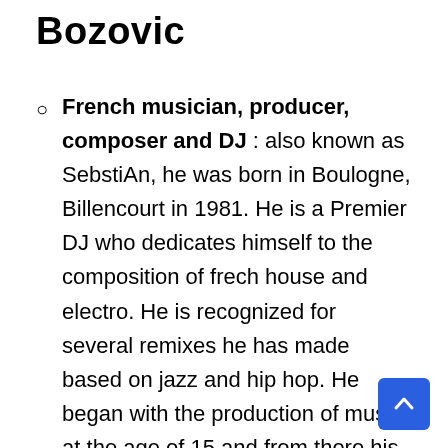Bozovic
French musician, producer, composer and DJ : also known as SebstiAn, he was born in Boulogne, Billencourt in 1981. He is a Premier DJ who dedicates himself to the composition of frech house and electro. He is recognized for several remixes he has made based on jazz and hip hop. He began with the production of music at the age of 15 and from there his relationship with certain experimental influences that have characterized his creation has been noted. He has released several early music albums on Ed